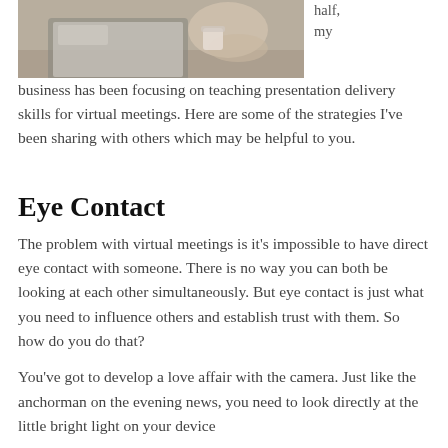[Figure (photo): Person working at a laptop computer, photo partially visible at top of page]
half, my business has been focusing on teaching presentation delivery skills for virtual meetings. Here are some of the strategies I've been sharing with others which may be helpful to you.
Eye Contact
The problem with virtual meetings is it's impossible to have direct eye contact with someone. There is no way you can both be looking at each other simultaneously. But eye contact is just what you need to influence others and establish trust with them. So how do you do that?
You've got to develop a love affair with the camera. Just like the anchorman on the evening news, you need to look directly at the little bright light on your device